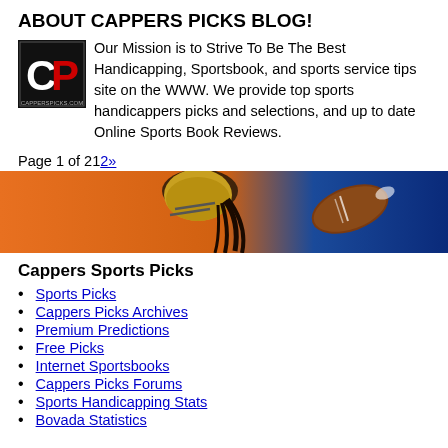ABOUT CAPPERS PICKS BLOG!
Our Mission is to Strive To Be The Best Handicapping, Sportsbook, and sports service tips site on the WWW. We provide top sports handicappers picks and selections, and up to date Online Sports Book Reviews.
Page 1 of 212»
[Figure (photo): Sports banner image showing a football player in a gold and black helmet against an orange and blue background, catching or holding a football.]
Cappers Sports Picks
Sports Picks
Cappers Picks Archives
Premium Predictions
Free Picks
Internet Sportsbooks
Cappers Picks Forums
Sports Handicapping Stats
Bovada Statistics